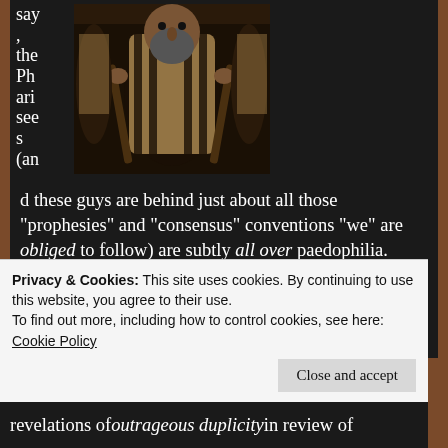[Figure (photo): A person dressed in dark robes and a striped prayer shawl, holding a staff, facing the camera with others similarly dressed visible in the background.]
say , the Pharisees (and these guys are behind just about all those “prophesies” and “consensus” conventions “we” are obliged to follow) are subtly all over paedophilia. Paedophilia, of course, has a nasty habit of pissing off parents and making them “think” (sic) irrationally. It only needs a whiff of
Privacy & Cookies: This site uses cookies. By continuing to use this website, you agree to their use.
To find out more, including how to control cookies, see here:
Cookie Policy
revelations of outrageous duplicity in review of